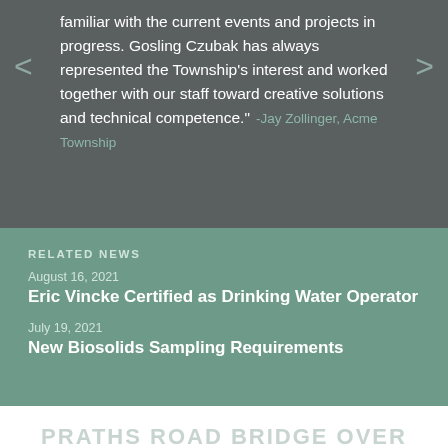familiar with the current events and projects in progress. Gosling Czubak has always represented the Township's interest and worked together with our staff toward creative solutions and technical competence." -Jay Zollinger, Acme Township
RELATED NEWS
August 16, 2021
Eric Vincke Certified as Drinking Water Operator
July 19, 2021
New Biosolids Sampling Requirements
PRATHS ROAD BRIDGE OVER